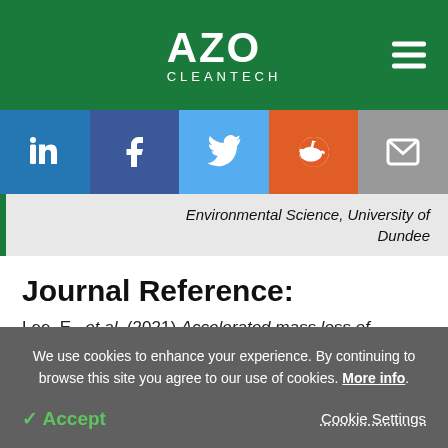AZO CLEANTECH
[Figure (infographic): Social media sharing buttons: LinkedIn, Facebook, Twitter, Reddit, Email]
Environmental Science, University of Dundee
Journal Reference:
Lee, E., et al. (2021) Accelerated mass loss of Himalayan
We use cookies to enhance your experience. By continuing to browse this site you agree to our use of cookies. More info.
Accept   Cookie Settings